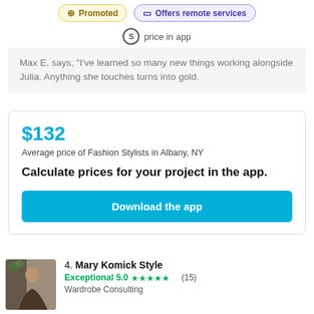Promoted | Offers remote services
price in app
Max E. says, "I've learned so many new things working alongside Julia. Anything she touches turns into gold.
$132
Average price of Fashion Stylists in Albany, NY
Calculate prices for your project in the app.
Download the app
4. Mary Komick Style
Exceptional 5.0 ★★★★★ (15)
Wardrobe Consulting